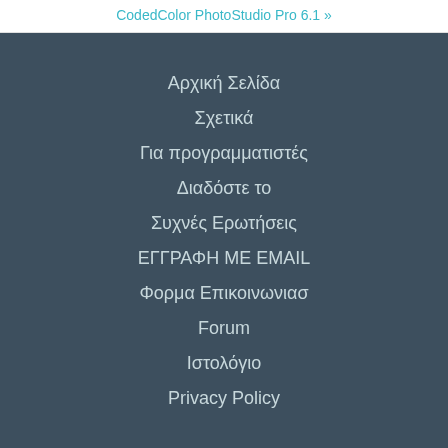CodedColor PhotoStudio Pro 6.1 »
Αρχική Σελίδα
Σχετικά
Για προγραμματιστές
Διαδόστε το
Συχνές Ερωτήσεις
ΕΓΓΡΑΦΗ ΜΕ EMAIL
Φορμα Επικοινωνιασ
Forum
Ιστολόγιο
Privacy Policy